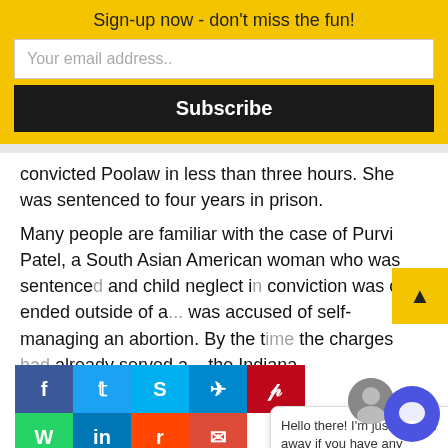Sign-up now - don't miss the fun!
Your email address..
Subscribe
convicted Poolaw in less than three hours. She was sentenced to four years in prison.
Many people are familiar with the case of Purvi Patel, a South Asian American woman who was sentenced [partially obscured] and child neglect in [partially obscured] conviction was ove[r] ended outside of a[...] was accused of self-managing an abortion. By the t[ime] the charges [had] already served a[...] the Indiana
Hello there! I'm just a hollar away if you have any questions, concerns or problems.